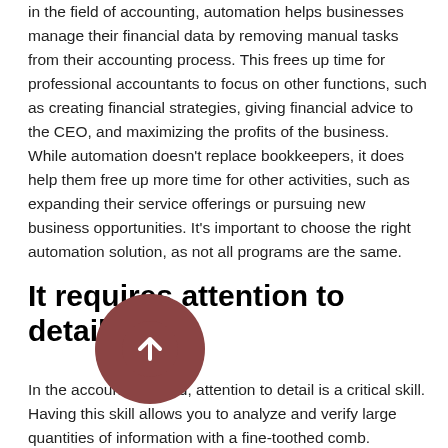in the field of accounting, automation helps businesses manage their financial data by removing manual tasks from their accounting process. This frees up time for professional accountants to focus on other functions, such as creating financial strategies, giving financial advice to the CEO, and maximizing the profits of the business. While automation doesn't replace bookkeepers, it does help them free up more time for other activities, such as expanding their service offerings or pursuing new business opportunities. It's important to choose the right automation solution, as not all programs are the same.
It requires attention to detail
In the accounting world, attention to detail is a critical skill. Having this skill allows you to analyze and verify large quantities of information with a fine-toothed comb.